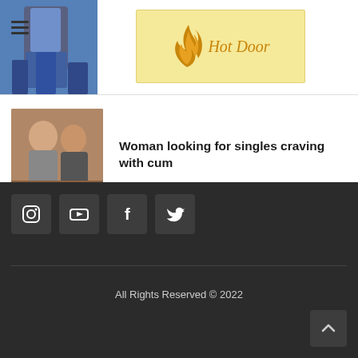Hot Door
[Figure (photo): Thumbnail image in header area showing a person in blue pants]
[Figure (logo): Hot Door logo with golden flame icon and stylized text on yellow background]
[Figure (photo): Article thumbnail showing people]
Woman looking for singles craving with cum
[Figure (infographic): Social media icons: Instagram, YouTube, Facebook, Twitter on dark background]
All Rights Reserved © 2022